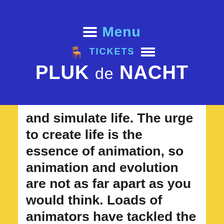Menu | TICKETS | PLUK de NACHT
and simulate life. The urge to create life is the essence of animation, so animation and evolution are not as far apart as you would think. Loads of animators have tackled the story of evolution (The Simpsons did it!). Steven Subotnick takes a minimalist approach in his short. A single point turns into a shape turns